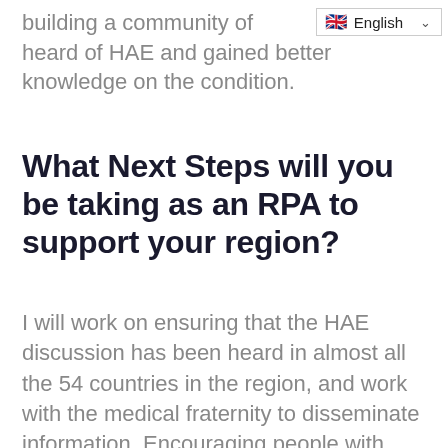building a community of heard of HAE and gained better knowledge on the condition.
[Figure (screenshot): Language selector dropdown showing UK flag and 'English' with a chevron/dropdown arrow]
What Next Steps will you be taking as an RPA to support your region?
I will work on ensuring that the HAE discussion has been heard in almost all the 54 countries in the region, and work with the medical fraternity to disseminate information. Encouraging people with HAE to form support groups in their country and so Increasing the number of HAE MOs